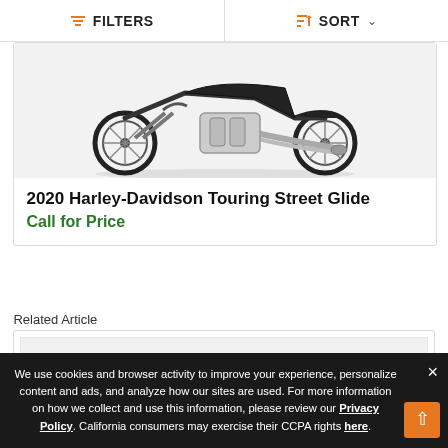FILTERS  SORT
[Figure (photo): Photo of a 2020 Harley-Davidson Touring Street Glide motorcycle, cropped showing the rear half including exhaust, rear wheel, and chrome engine details on a white background.]
2020 Harley-Davidson Touring Street Glide
Call for Price
Related Article
[Figure (photo): Related article thumbnail image placeholder, empty grey box.]
We use cookies and browser activity to improve your experience, personalize content and ads, and analyze how our sites are used. For more information on how we collect and use this information, please review our Privacy Policy. California consumers may exercise their CCPA rights here.